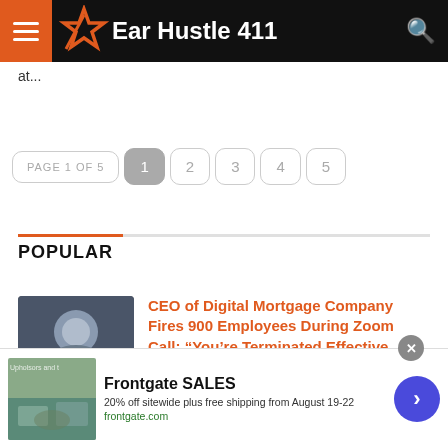Ear Hustle 411
at...
PAGE 1 OF 5  1  2  3  4  5
POPULAR
CEO of Digital Mortgage Company Fires 900 Employees During Zoom Call: “You’re Terminated Effective Immediatly”
[Figure (photo): Headshot of a man in dark clothing against a blurred background]
Frontgate SALES
20% off sitewide plus free shipping from August 19-22
frontgate.com
[Figure (photo): Advertisement image showing outdoor patio furniture]